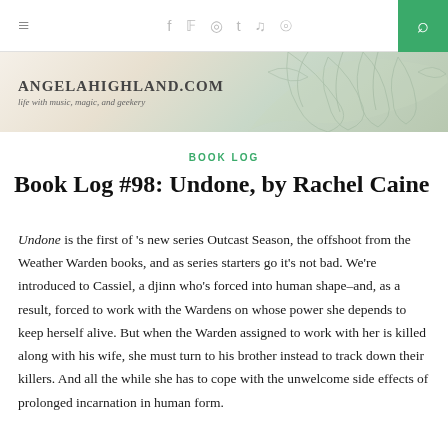≡  f  y  ⊕  t  ☁  )))  🔍
[Figure (illustration): AngelaHighland.com banner with decorative leaf illustration and tagline 'life with music, magic, and geekery']
BOOK LOG
Book Log #98: Undone, by Rachel Caine
Undone is the first of 's new series Outcast Season, the offshoot from the Weather Warden books, and as series starters go it's not bad. We're introduced to Cassiel, a djinn who's forced into human shape–and, as a result, forced to work with the Wardens on whose power she depends to keep herself alive. But when the Warden assigned to work with her is killed along with his wife, she must turn to his brother instead to track down their killers. And all the while she has to cope with the unwelcome side effects of prolonged incarnation in human form.